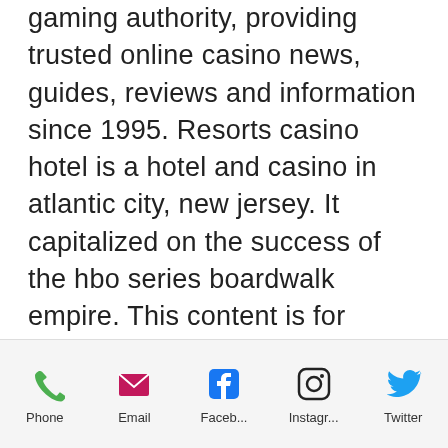gaming authority, providing trusted online casino news, guides, reviews and information since 1995. Resorts casino hotel is a hotel and casino in atlantic city, new jersey. It capitalized on the success of the hbo series boardwalk empire. This content is for westfair online members only. Empire city online casino. 40 talking about this. Play real casino games at empire city online casino. Play at the world's leading online casino - pokerstars casino | exclusive range of table and live games and guaranteed jackpots ► join. Trollpot 5000 touch. Jumpin' jalapenos · twin happiness touch. Lotus land · mammoth power. Buffalo hold and win. Empire city casino at yonkers raceway 810 yonkers avenue yonkers ny 10704 914. Empire city online casino click here to email our support team. Play and win when you bet at spin!
Phone | Email | Facebook | Instagram | Twitter